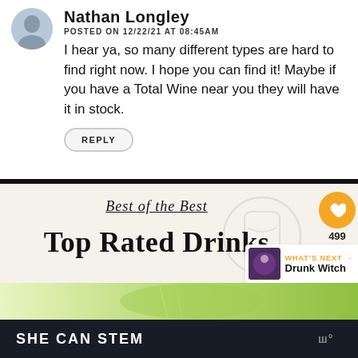Nathan Longley
POSTED ON 12/22/21 AT 08:45AM
I hear ya, so many different types are hard to find right now. I hope you can find it! Maybe if you have a Total Wine near you they will have it in stock.
REPLY
Best of the Best
Top Rated Drinks
WHAT'S NEXT → Drunk Witch
SHE CAN STEM